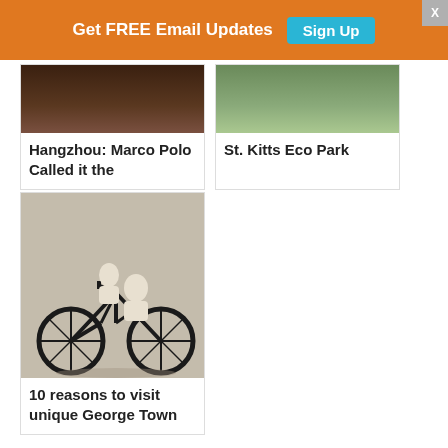[Figure (infographic): Orange banner advertisement: 'Get FREE Email Updates' with a teal 'Sign Up' button and an X close button in the top right corner.]
[Figure (photo): Partial photo of Hangzhou scene (dark tones), card with title 'Hangzhou: Marco Polo Called it the']
Hangzhou: Marco Polo Called it the
[Figure (photo): Partial photo of St. Kitts Eco Park (green outdoor path), card with title 'St. Kitts Eco Park']
St. Kitts Eco Park
[Figure (photo): Street mural photo showing two children riding a bicycle, painted on a wall in George Town, Penang.]
10 reasons to visit unique George Town
FILED UNDER: ASIA
.
TAGGED: ART, ASIA, CHINA, CULTURE, FESTIVAL, FOOD AND WINE, GARDEN, HIKING, HISTORY, HOT SPRINGS, JAPAN, LOS ANGELES, MARKETS, MOUNTAIN